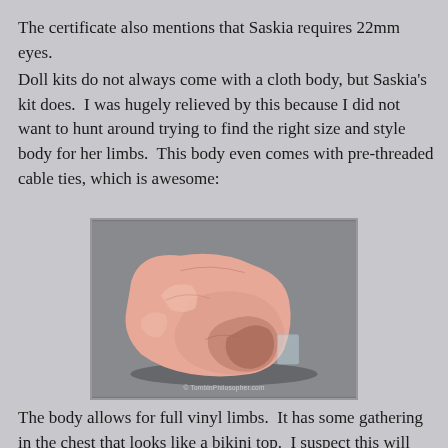The certificate also mentions that Saskia requires 22mm eyes.
Doll kits do not always come with a cloth body, but Saskia's kit does.  I was hugely relieved by this because I did not want to hunt around trying to find the right size and style body for her limbs.  This body even comes with pre-threaded cable ties, which is awesome:
[Figure (photo): A pink cloth doll body rolled up on a gray background, showing the soft fabric torso with gathered sections and visible seams. Watermark reads: TomblnPhilosopher.com]
The body allows for full vinyl limbs.  It has some gathering in the chest that looks like a bikini top.  I suspect this will look more